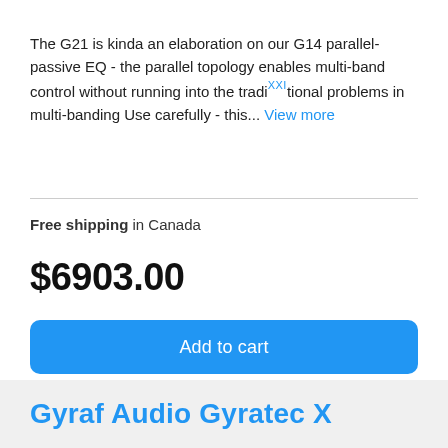The G21 is kinda an elaboration on our G14 parallel-passive EQ - the parallel topology enables multi-band control without running into the traditional problems in multi-banding Use carefully - this... View more
Free shipping in Canada
$6903.00
Add to cart
Get a quote
Gyraf Audio Gyratec X